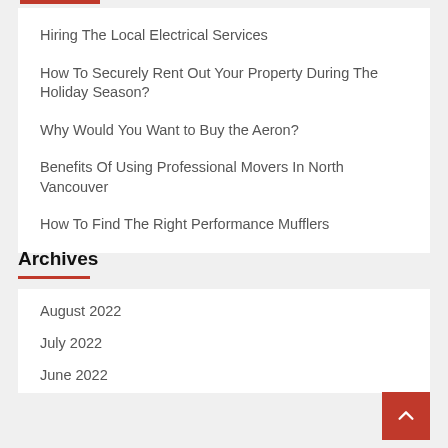Hiring The Local Electrical Services
How To Securely Rent Out Your Property During The Holiday Season?
Why Would You Want to Buy the Aeron?
Benefits Of Using Professional Movers In North Vancouver
How To Find The Right Performance Mufflers
Archives
August 2022
July 2022
June 2022